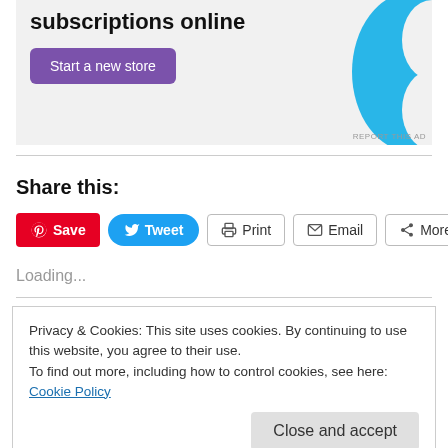[Figure (other): Advertisement banner with purple 'Start a new store' button and blue decorative shape on the right, text 'subscriptions online' at top]
Share this:
[Figure (other): Social sharing buttons: Save (Pinterest, red), Tweet (Twitter, blue), Print (outline), Email (outline), More (outline)]
Loading...
Privacy & Cookies: This site uses cookies. By continuing to use this website, you agree to their use.
To find out more, including how to control cookies, see here: Cookie Policy
Days 3 and 4Early wake…